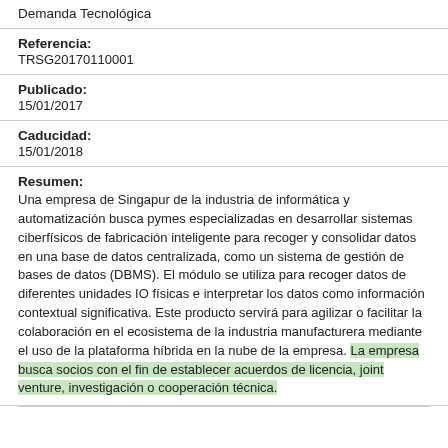Demanda Tecnológica
Referencia:
TRSG20170110001
Publicado:
15/01/2017
Caducidad:
15/01/2018
Resumen:
Una empresa de Singapur de la industria de informática y automatización busca pymes especializadas en desarrollar sistemas ciberfísicos de fabricación inteligente para recoger y consolidar datos en una base de datos centralizada, como un sistema de gestión de bases de datos (DBMS). El módulo se utiliza para recoger datos de diferentes unidades IO físicas e interpretar los datos como información contextual significativa. Este producto servirá para agilizar o facilitar la colaboración en el ecosistema de la industria manufacturera mediante el uso de la plataforma híbrida en la nube de la empresa. La empresa busca socios con el fin de establecer acuerdos de licencia, joint venture, investigación o cooperación técnica.